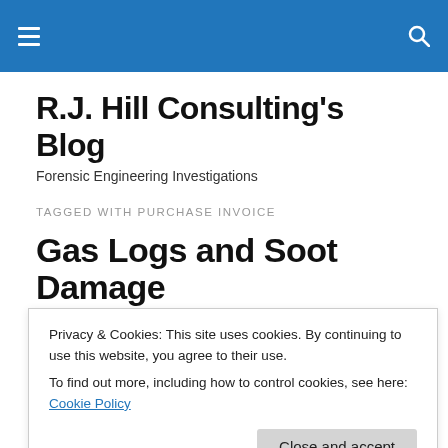R.J. Hill Consulting's Blog — navigation bar
R.J. Hill Consulting's Blog
Forensic Engineering Investigations
TAGGED WITH PURCHASE INVOICE
Gas Logs and Soot Damage
This is a subject that I have blogged about in the past
Privacy & Cookies: This site uses cookies. By continuing to use this website, you agree to their use.
To find out more, including how to control cookies, see here: Cookie Policy
gas or propane incompletely.  That is, unburned carbon is